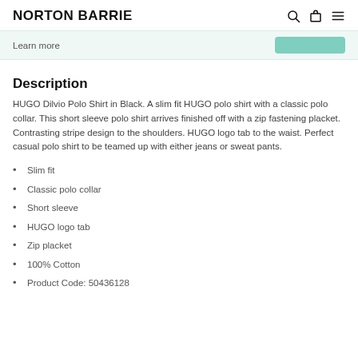NORTON BARRIE
Learn more
Description
HUGO Dilvio Polo Shirt in Black. A slim fit HUGO polo shirt with a classic polo collar. This short sleeve polo shirt arrives finished off with a zip fastening placket. Contrasting stripe design to the shoulders. HUGO logo tab to the waist. Perfect casual polo shirt to be teamed up with either jeans or sweat pants.
Slim fit
Classic polo collar
Short sleeve
HUGO logo tab
Zip placket
100% Cotton
Product Code: 50436128